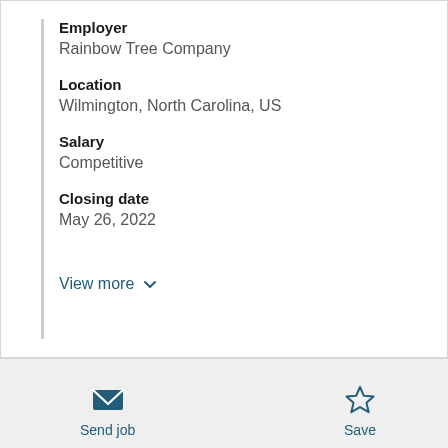Employer
Rainbow Tree Company
Location
Wilmington, North Carolina, US
Salary
Competitive
Closing date
May 26, 2022
View more
Send job
Save